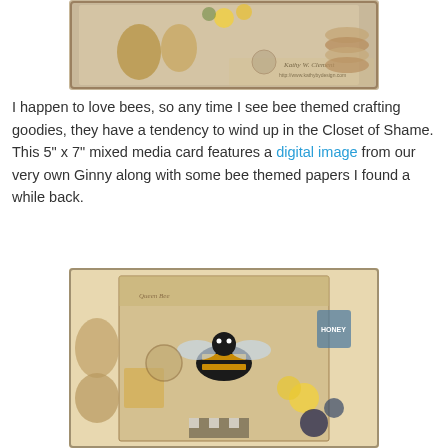[Figure (photo): Top portion of a bee-themed mixed media card by Kathy W. Clement, showing decorative elements with beehives, flowers and a clock face. Watermark text: 'Designer Kathy W. Clement http://www.kathybydesign.com']
I happen to love bees, so any time I see bee themed crafting goodies, they have a tendency to wind up in the Closet of Shame. This 5" x 7" mixed media card features a digital image from our very own Ginny along with some bee themed papers I found a while back.
[Figure (photo): Close-up photo of a 5 x 7 mixed media card featuring a large bee digital image with bee-themed decorative papers, yellow roses, blue flowers, burlap texture, honeycomb patterns, and a honey jar.]